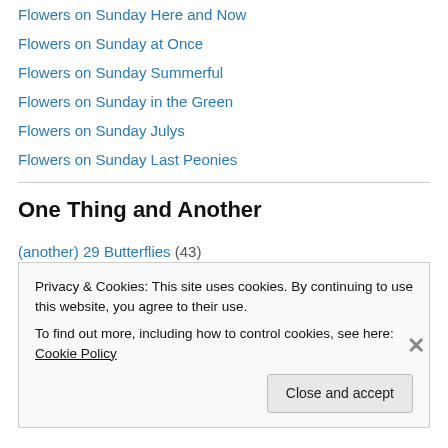Flowers on Sunday Here and Now
Flowers on Sunday at Once
Flowers on Sunday Summerful
Flowers on Sunday in the Green
Flowers on Sunday Julys
Flowers on Sunday Last Peonies
One Thing and Another
(another) 29 Butterflies (43)
14 Hearts in 14 Days (25)
14 Matters of the Heart (7)
29 Butterflies (39)
Privacy & Cookies: This site uses cookies. By continuing to use this website, you agree to their use. To find out more, including how to control cookies, see here: Cookie Policy
Close and accept